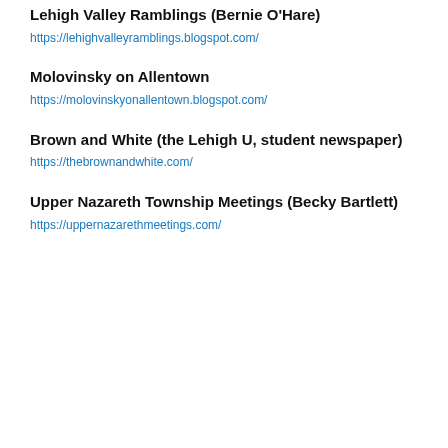Lehigh Valley Ramblings (Bernie O'Hare)
https://lehighvalleyramblings.blogspot.com/
Molovinsky on Allentown
https://molovinskyonallentown.blogspot.com/
Brown and White (the Lehigh U, student newspaper)
https://thebrownandwhite.com/
Upper Nazareth Township Meetings (Becky Bartlett)
https://uppernazarethmeetings.com/